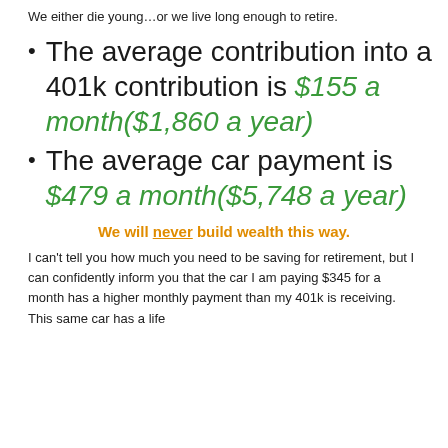We either die young…or we live long enough to retire.
The average contribution into a 401k contribution is $155 a month($1,860 a year)
The average car payment is $479 a month($5,748 a year)
We will never build wealth this way.
I can't tell you how much you need to be saving for retirement, but I can confidently inform you that the car I am paying $345 for a month has a higher monthly payment than my 401k is receiving. This same car has a life